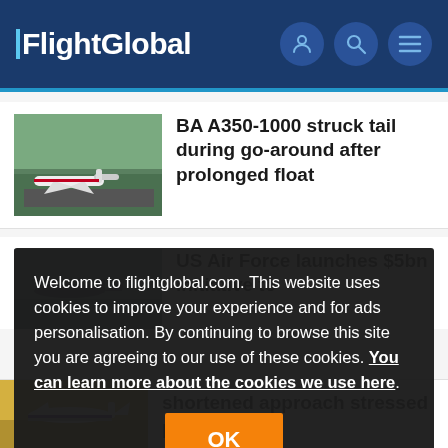FlightGlobal
BA A350-1000 struck tail during go-around after prolonged float
[Figure (photo): British Airways A350-1000 aircraft on runway]
US Air Force launches $5bn initiative to
[Figure (photo): Aircraft silhouette against grey sky]
Welcome to flightglobal.com. This website uses cookies to improve your experience and for ads personalisation. By continuing to browse this site you are agreeing to our use of these cookies. You can learn more about the cookies we use here.
OK
shortened approach stressed pilots
[Figure (photo): Thai Airways aircraft in flight]